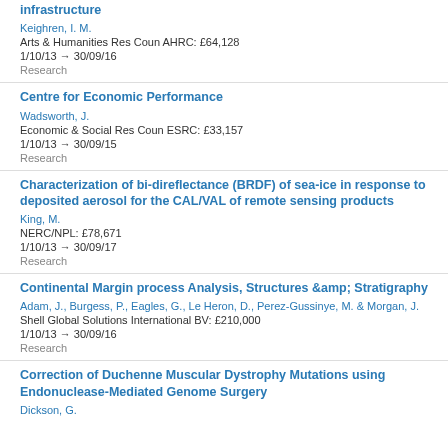infrastructure
Keighren, I. M.
Arts & Humanities Res Coun AHRC: £64,128
1/10/13 → 30/09/16
Research
Centre for Economic Performance
Wadsworth, J.
Economic & Social Res Coun ESRC: £33,157
1/10/13 → 30/09/15
Research
Characterization of bi-direflectance (BRDF) of sea-ice in response to deposited aerosol for the CAL/VAL of remote sensing products
King, M.
NERC/NPL: £78,671
1/10/13 → 30/09/17
Research
Continental Margin process Analysis, Structures &amp; Stratigraphy
Adam, J., Burgess, P., Eagles, G., Le Heron, D., Perez-Gussinye, M. & Morgan, J.
Shell Global Solutions International BV: £210,000
1/10/13 → 30/09/16
Research
Correction of Duchenne Muscular Dystrophy Mutations using Endonuclease-Mediated Genome Surgery
Dickson, G.